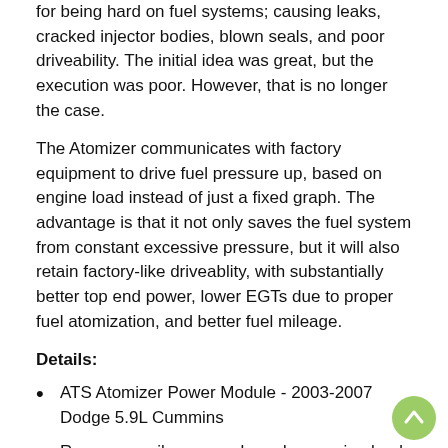for being hard on fuel systems; causing leaks, cracked injector bodies, blown seals, and poor driveability. The initial idea was great, but the execution was poor. However, that is no longer the case.
The Atomizer communicates with factory equipment to drive fuel pressure up, based on engine load instead of just a fixed graph. The advantage is that it not only saves the fuel system from constant excessive pressure, but it will also retain factory-like driveablity, with substantially better top end power, lower EGTs due to proper fuel atomization, and better fuel mileage.
Details:
ATS Atomizer Power Module - 2003-2007 Dodge 5.9L Cummins
Ramps up rail pressure based on engine load Retains drivability, where the competitors pressure boxes create too much pressure, too quickly
Has built in safety features